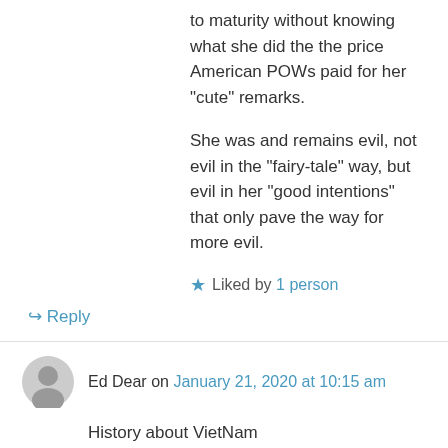to maturity without knowing what she did the the price American POWs paid for her “cute” remarks.
She was and remains evil, not evil in the “fairy-tale” way, but evil in her “good intentions” that only pave the way for more evil.
★ Liked by 1 person
↪ Reply
Ed Dear on January 21, 2020 at 10:15 am
History about VietNam
★ Liked by 1 person
↪ Reply